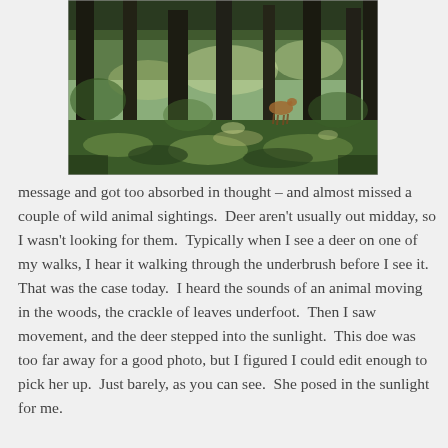[Figure (photo): A forest scene with tall tree trunks, dappled sunlight, green undergrowth, and a deer visible in the background among the trees.]
message and got too absorbed in thought – and almost missed a couple of wild animal sightings.  Deer aren't usually out midday, so I wasn't looking for them.  Typically when I see a deer on one of my walks, I hear it walking through the underbrush before I see it.  That was the case today.  I heard the sounds of an animal moving in the woods, the crackle of leaves underfoot.  Then I saw movement, and the deer stepped into the sunlight.  This doe was too far away for a good photo, but I figured I could edit enough to pick her up.  Just barely, as you can see.  She posed in the sunlight for me.